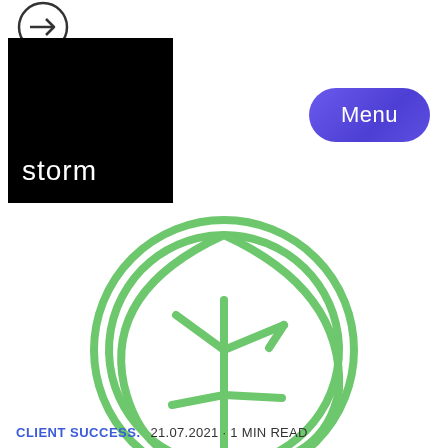[Figure (logo): Black square logo with white text 'storm' and a right-arrow circle icon above it]
[Figure (illustration): Purple/blue rounded rectangle button with white text 'Menu']
[Figure (illustration): Green line-art circle containing a leaf with stem and veins icon]
CLIENT SUCCESS.  21.07.2021 · 1 MIN READ